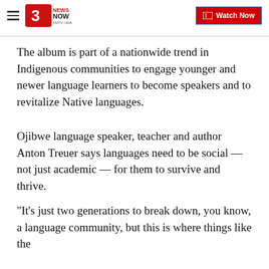3 News Now KMTV Omaha | Watch Now
The album is part of a nationwide trend in Indigenous communities to engage younger and newer language learners to become speakers and to revitalize Native languages.
Ojibwe language speaker, teacher and author Anton Treuer says languages need to be social — not just academic — for them to survive and thrive.
"It's just two generations to break down, you know, a language community, but this is where things like the